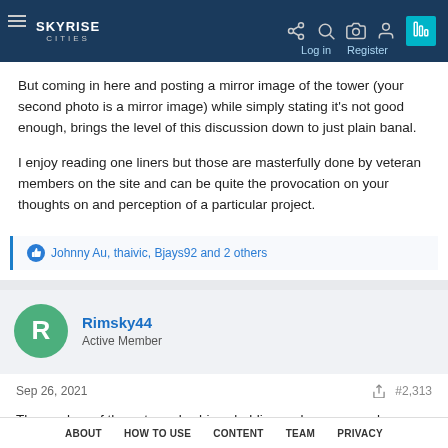SKYRISE CITIES — Log in  Register
But coming in here and posting a mirror image of the tower (your second photo is a mirror image) while simply stating it's not good enough, brings the level of this discussion down to just plain banal.

I enjoy reading one liners but those are masterfully done by veteran members on the site and can be quite the provocation on your thoughts on and perception of a particular project.
👍 Johnny Au, thaivic, Bjays92 and 2 others
Rimsky44
Active Member
Sep 26, 2021    #2,313
The renders of the extremely shiny cladding makes me wonder
ABOUT   HOW TO USE   CONTENT   TEAM   PRIVACY